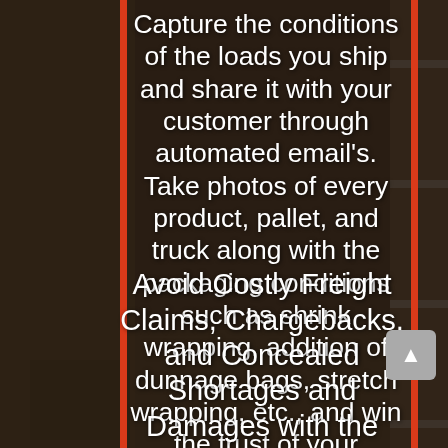[Figure (photo): Background photo of a warehouse/freight loading area with pallets and shelving, overlaid with a dark semi-transparent layer and red vertical border accents on left and right sides.]
Capture the conditions of the loads you ship and share it with your customer through automated email's. Take photos of every product, pallet, and truck along with the packaging conditions such as shrink wrapping, addition of dunnage bags, stretch wrapping, etc., and win the trust of your customers.
Avoid Costly Freight Claims, Chargebacks, and Concealed Shortages and Damages with the